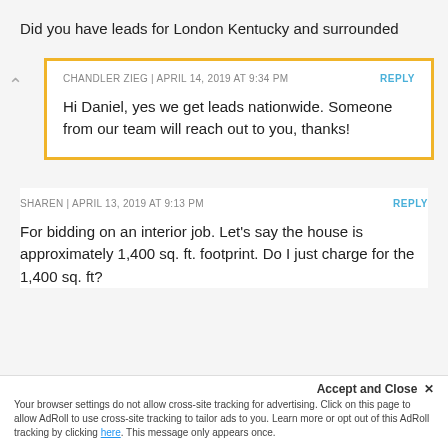Did you have leads for London Kentucky and surrounded
CHANDLER ZIEG | APRIL 14, 2019 AT 9:34 PM
REPLY
Hi Daniel, yes we get leads nationwide. Someone from our team will reach out to you, thanks!
SHAREN | APRIL 13, 2019 AT 9:13 PM
REPLY
For bidding on an interior job. Let's say the house is approximately 1,400 sq. ft. footprint. Do I just charge for the 1,400 sq. ft?
Accept and Close ✕
Your browser settings do not allow cross-site tracking for advertising. Click on this page to allow AdRoll to use cross-site tracking to tailor ads to you. Learn more or opt out of this AdRoll tracking by clicking here. This message only appears once.